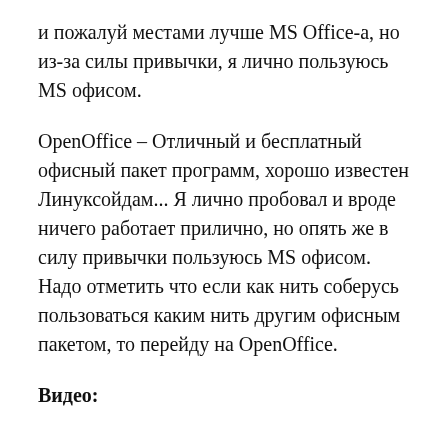и пожалуй местами лучше MS Office‑а, но из‑за силы привычки, я лично пользуюсь MS офисом.
OpenOffice – Отличный и бесплатный офисный пакет программ, хорошо известен Линуксойдам... Я лично пробовал и вроде ничего работает прилично, но опять же в силу привычки пользуюсь MS офисом. Надо отметить что если как нить соберусь пользоваться каким нить другим офисным пакетом, то перейду на OpenOffice.
Видео: